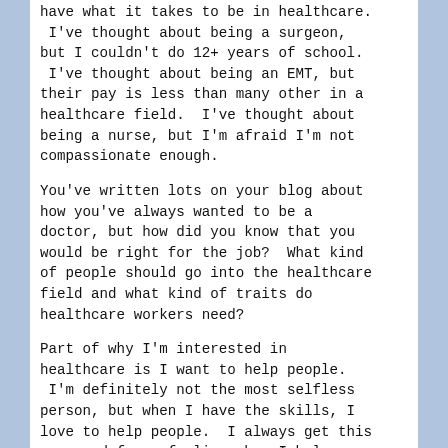have what it takes to be in healthcare. I've thought about being a surgeon, but I couldn't do 12+ years of school. I've thought about being an EMT, but their pay is less than many other in a healthcare field.  I've thought about being a nurse, but I'm afraid I'm not compassionate enough.
You've written lots on your blog about how you've always wanted to be a doctor, but how did you know that you would be right for the job?  What kind of people should go into the healthcare field and what kind of traits do healthcare workers need?
Part of why I'm interested in healthcare is I want to help people. I'm definitely not the most selfless person, but when I have the skills, I love to help people.  I always get this warm and fuzzy feeling when I help